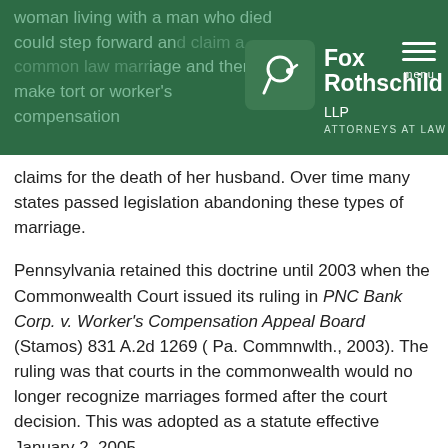woman living with a man who died could step forward and claim a common law marriage and thereby make tort or worker's compensation claims for the death of her husband. Over time many states passed legislation abandoning these types of marriage.
claims for the death of her husband. Over time many states passed legislation abandoning these types of marriage.
Pennsylvania retained this doctrine until 2003 when the Commonwealth Court issued its ruling in PNC Bank Corp. v. Worker's Compensation Appeal Board (Stamos) 831 A.2d 1269 ( Pa. Commnwlth., 2003). The ruling was that courts in the commonwealth would no longer recognize marriages formed after the court decision. This was adopted as a statute effective January 2, 2005.
The key is in the language. If the claim is that the